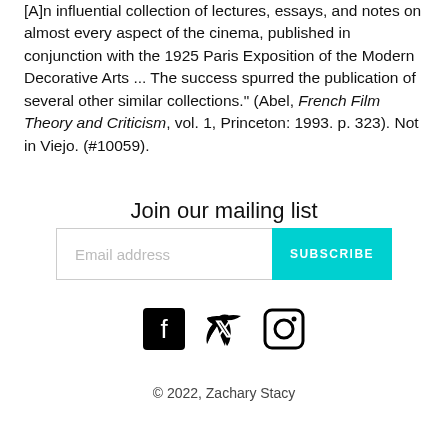[A]n influential collection of lectures, essays, and notes on almost every aspect of the cinema, published in conjunction with the 1925 Paris Exposition of the Modern Decorative Arts ... The success spurred the publication of several other similar collections." (Abel, French Film Theory and Criticism, vol. 1, Princeton: 1993. p. 323). Not in Viejo. (#10059).
Join our mailing list
[Figure (infographic): Email subscription form with text input labeled 'Email address' and a cyan SUBSCRIBE button]
[Figure (infographic): Social media icons: Facebook, Twitter, Instagram]
© 2022, Zachary Stacy